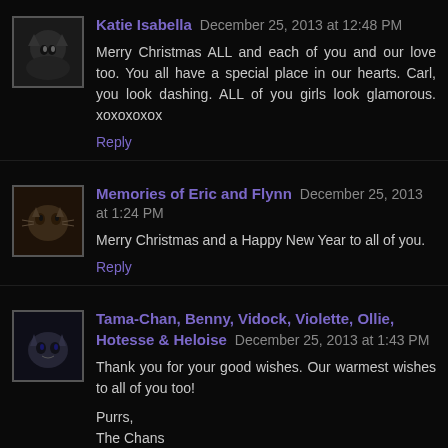Katie Isabella  December 25, 2013 at 12:48 PM
Merry Christmas ALL and each of you and our love too. You all have a special place in our hearts. Carl, you look dashing. ALL of you girls look glamorous. xoxoxoxox
Reply
Memories of Eric and Flynn  December 25, 2013 at 1:24 PM
Merry Christmas and a Happy New Year to all of you.
Reply
Tama-Chan, Benny, Vidock, Violette, Ollie, Hotesse & Heloise  December 25, 2013 at 1:43 PM
Thank you for your good wishes. Our warmest wishes to all of you too!

Purrs,
The Chans